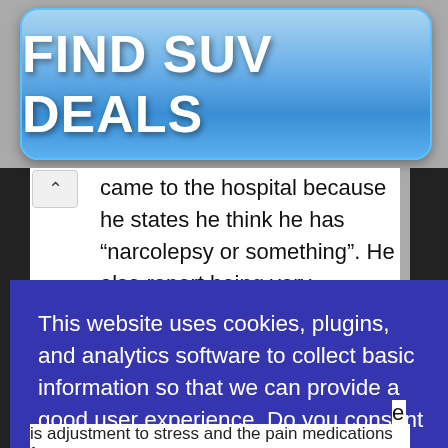[Figure (other): Blue gradient button advertisement reading FIND SUV DEALS in bold white text]
came to the hospital because he states he think he has “narcolepsy or something”. He also report being very agitated at the slightest things and
This website uses cookies, plugins, and analytics software to collect basic information so that we can provide a good user experience. Do you consent to our privacy policy?
I Consent!